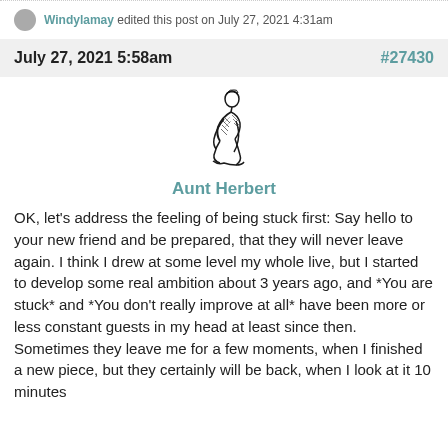Windylamay edited this post on July 27, 2021 4:31am
July 27, 2021 5:58am   #27430
[Figure (illustration): Black and white ink sketch of a person kneeling or sitting hunched over, with detailed cross-hatching linework]
Aunt Herbert
OK, let's address the feeling of being stuck first: Say hello to your new friend and be prepared, that they will never leave again. I think I drew at some level my whole live, but I started to develop some real ambition about 3 years ago, and *You are stuck* and *You don't really improve at all* have been more or less constant guests in my head at least since then. Sometimes they leave me for a few moments, when I finished a new piece, but they certainly will be back, when I look at it 10 minutes